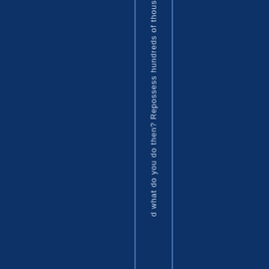d what do you do then? Repossess hundreds of thousands